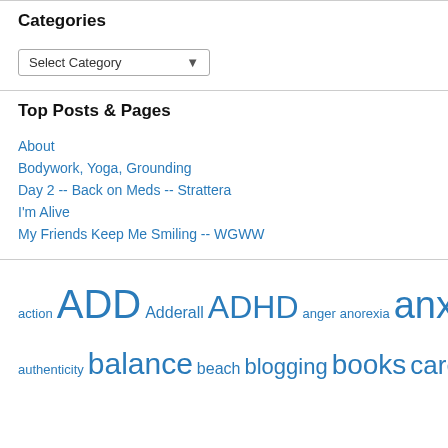Categories
[Figure (other): A dropdown select box labeled 'Select Category']
Top Posts & Pages
About
Bodywork, Yoga, Grounding
Day 2 -- Back on Meds -- Strattera
I'm Alive
My Friends Keep Me Smiling -- WGWW
action ADD Adderall ADHD anger anorexia anxiety authenticity balance beach blogging books career cooking